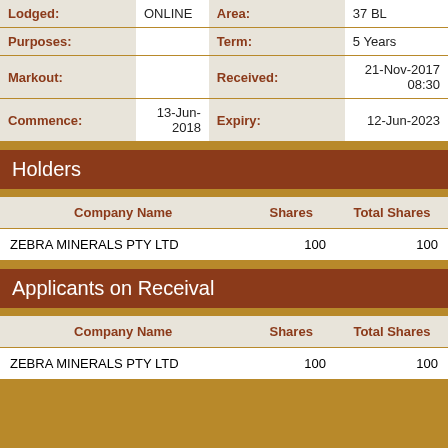| Label | Value | Label | Value |
| --- | --- | --- | --- |
| Lodged: | ONLINE | Area: | 37 BL |
| Purposes: |  | Term: | 5 Years |
| Markout: |  | Received: | 21-Nov-2017 08:30 |
| Commence: | 13-Jun-2018 | Expiry: | 12-Jun-2023 |
Holders
| Company Name | Shares | Total Shares |
| --- | --- | --- |
| ZEBRA MINERALS PTY LTD | 100 | 100 |
Applicants on Receival
| Company Name | Shares | Total Shares |
| --- | --- | --- |
| ZEBRA MINERALS PTY LTD | 100 | 100 |